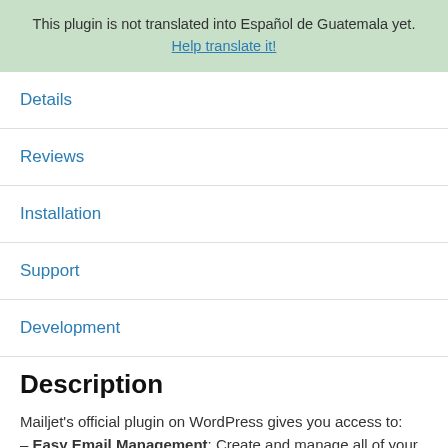This plugin is not translated into Español de Guatemala yet. Help translate it!
Details
Reviews
Installation
Support
Development
Description
Mailjet's official plugin on WordPress gives you access to:
– Easy Email Management: Create and manage all of your marketing and transactional email campaigns